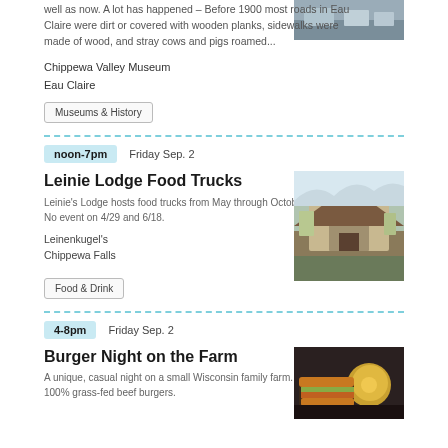well as now. A lot has happened – Before 1900 most roads in Eau Claire were dirt or covered with wooden planks, sidewalks were made of wood, and stray cows and pigs roamed...
Chippewa Valley Museum
Eau Claire
Museums & History
noon-7pm   Friday Sep. 2
Leinie Lodge Food Trucks
Leinie's Lodge hosts food trucks from May through October, Fri & Sat. No event on 4/29 and 6/18.
Leinenkugel's
Chippewa Falls
Food & Drink
4-8pm   Friday Sep. 2
Burger Night on the Farm
A unique, casual night on a small Wisconsin family farm. Fresh, grilled 100% grass-fed beef burgers.
[Figure (photo): Street scene photo]
[Figure (photo): Leinie Lodge building exterior]
[Figure (photo): Burger and beer on table]